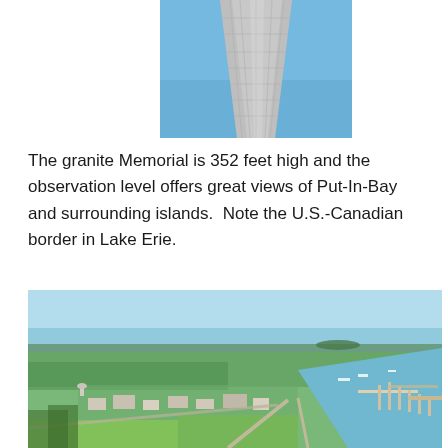[Figure (photo): Close-up photo of the upper portion of a tall granite memorial/column against a blue sky, showing the stone masonry surface tapering upward.]
The granite Memorial is 352 feet high and the observation level offers great views of Put-In-Bay and surrounding islands.  Note the U.S.-Canadian border in Lake Erie.
[Figure (photo): Aerial photo of Put-In-Bay village and harbor, showing green tree-covered landscape, town buildings, roads, marina with docks and boats on the right side, and Lake Erie extending to the horizon.]